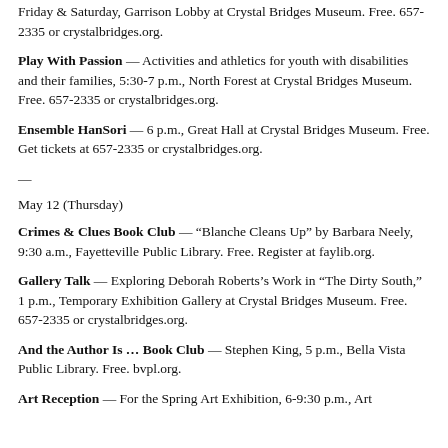Friday & Saturday, Garrison Lobby at Crystal Bridges Museum. Free. 657-2335 or crystalbridges.org.
Play With Passion — Activities and athletics for youth with disabilities and their families, 5:30-7 p.m., North Forest at Crystal Bridges Museum. Free. 657-2335 or crystalbridges.org.
Ensemble HanSori — 6 p.m., Great Hall at Crystal Bridges Museum. Free. Get tickets at 657-2335 or crystalbridges.org.
—
May 12 (Thursday)
Crimes & Clues Book Club — “Blanche Cleans Up” by Barbara Neely, 9:30 a.m., Fayetteville Public Library. Free. Register at faylib.org.
Gallery Talk — Exploring Deborah Roberts’s Work in “The Dirty South,” 1 p.m., Temporary Exhibition Gallery at Crystal Bridges Museum. Free. 657-2335 or crystalbridges.org.
And the Author Is … Book Club — Stephen King, 5 p.m., Bella Vista Public Library. Free. bvpl.org.
Art Reception — For the Spring Art Exhibition, 6-9:30 p.m., Art